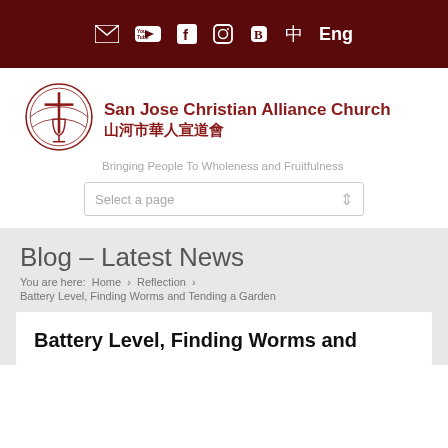Social icons bar: email, YouTube, Facebook, Instagram, Blogger, 中, Eng
[Figure (logo): San Jose Christian Alliance Church circular logo with cross and chalice]
San Jose Christian Alliance Church 山河市華人宣道會
Bringing People To Wholeness and Fruitfulness
Select a page
Blog – Latest News
You are here:  Home  >  Reflection  >  Battery Level, Finding Worms and Tending a Garden
Battery Level, Finding Worms and